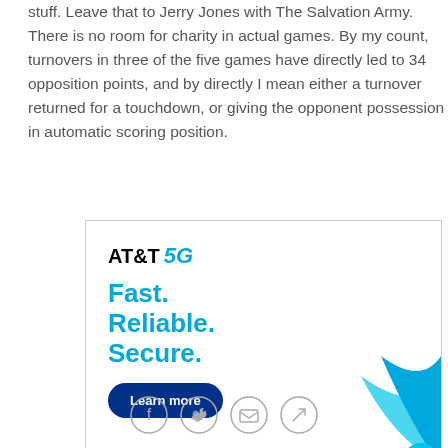stuff. Leave that to Jerry Jones with The Salvation Army. There is no room for charity in actual games. By my count, turnovers in three of the five games have directly led to 34 opposition points, and by directly I mean either a turnover returned for a touchdown, or giving the opponent possession in automatic scoring position.
[Figure (advertisement): AT&T 5G advertisement with logo, tagline 'Fast. Reliable. Secure.', a Learn more button, blue swoosh graphic, and disclaimer text.]